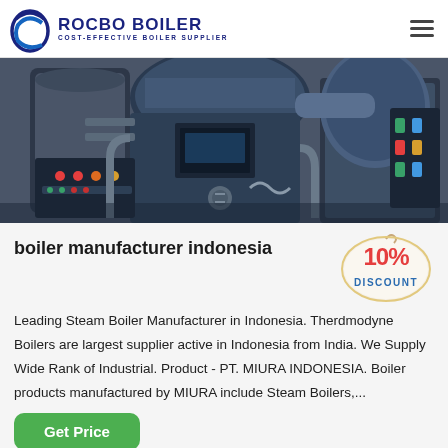ROCBO BOILER - COST-EFFECTIVE BOILER SUPPLIER
[Figure (photo): Industrial boiler room with large blue cylindrical boilers and control panels]
boiler manufacturer indonesia
[Figure (illustration): 10% DISCOUNT badge/sticker in red and blue]
Leading Steam Boiler Manufacturer in Indonesia. Therdmodyne Boilers are largest supplier active in Indonesia from India. We Supply Wide Rank of Industrial. Product - PT. MIURA INDONESIA. Boiler products manufactured by MIURA include Steam Boilers,...
Get Price